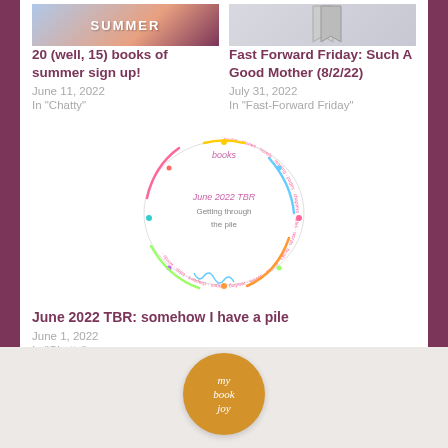[Figure (photo): Top partial image showing summer banner with gradient colors and text 'SUMMER']
20 (well, 15) books of summer sign up!
June 11, 2022
In "Chatty"
[Figure (photo): Top partial image showing a decorative bookmark or ribbon illustration]
Fast Forward Friday: Such A Good Mother (8/2/22)
July 31, 2022
In "Fast-Forward Friday"
[Figure (illustration): Circular speech bubble made of book titles text around the border, with text 'June 2022 TBR Getting through the pile' in the center]
June 2022 TBR: somehow I have a pile
June 1, 2022
In "Chatty"
[Figure (logo): Orange circle logo with white italic text reading 'my book joy']